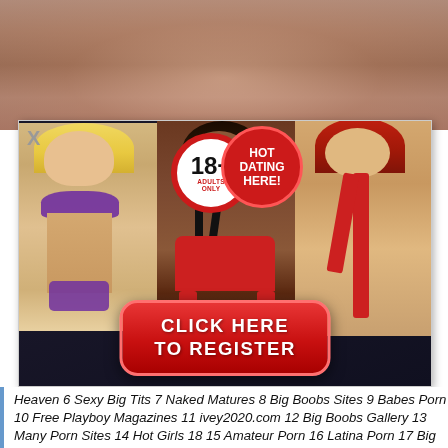[Figure (photo): Top cropped photo showing skin tones, close-up body shot]
[Figure (infographic): Adult dating advertisement banner with three female figures, 18+ badge, HOT DATING HERE badge, and CLICK HERE TO REGISTER red button]
Heaven 6 Sexy Big Tits 7 Naked Matures 8 Big Boobs Sites 9 Babes Porn 10 Free Playboy Magazines 11 ivey2020.com 12 Big Boobs Gallery 13 Many Porn Sites 14 Hot Girls 18 15 Amateur Porn 16 Latina Porn 17 Big D's Hot Babes n. woman with three tits. n 18 min 5M